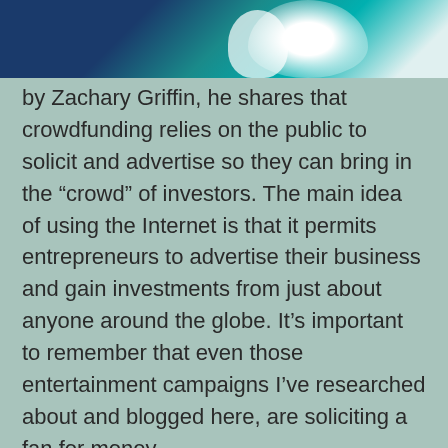[Figure (photo): Partial image showing abstract teal/blue and white shapes, possibly a crowd or artistic illustration related to crowdfunding.]
by Zachary Griffin, he shares that crowdfunding relies on the public to solicit and advertise so they can bring in the “crowd” of investors. The main idea of using the Internet is that it permits entrepreneurs to advertise their business and gain investments from just about anyone around the globe. It’s important to remember that even those entertainment campaigns I’ve researched about and blogged here, are soliciting a fan for money.
You may recall the mention I made of fans calling the shots. Today “fan-vestors” are